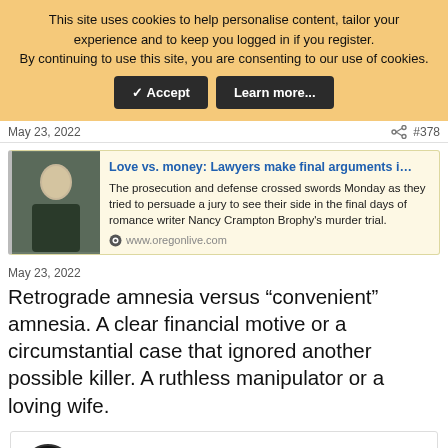This site uses cookies to help personalise content, tailor your experience and to keep you logged in if you register.
By continuing to use this site, you are consenting to our use of cookies.
✓ Accept | Learn more...
May 23, 2022  #378
[Figure (screenshot): Link preview card with thumbnail image of a person, blue hyperlink title 'Love vs. money: Lawyers make final arguments i...', article description text, and oregonlive.com source]
May 23, 2022
Retrograde amnesia versus “convenient” amnesia. A clear financial motive or a circumstantial case that ignored another possible killer. A ruthless manipulator or a loving wife.
[Figure (screenshot): Advertisement: Great Deal On Firestone Tires - VirginiaTire & Auto of Ashburn Fa. with Firestone logo and blue arrow icon]